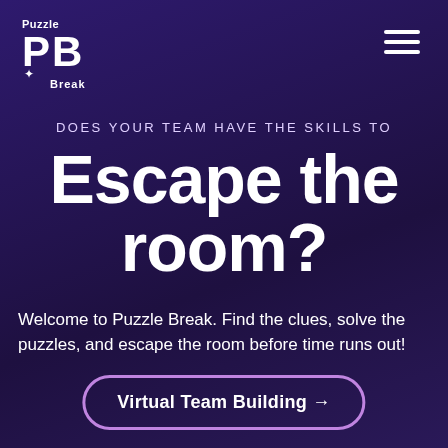[Figure (logo): Puzzle Break logo with puzzle piece letters PB and text 'Puzzle Break']
DOES YOUR TEAM HAVE THE SKILLS TO
Escape the room?
Welcome to Puzzle Break. Find the clues, solve the puzzles, and escape the room before time runs out!
Virtual Team Building →